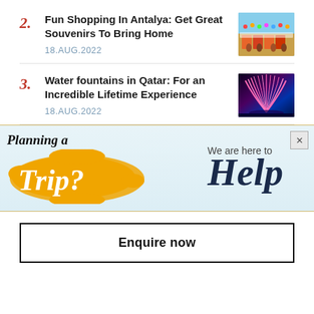2. Fun Shopping In Antalya: Get Great Souvenirs To Bring Home
18.AUG.2022
3. Water fountains in Qatar: For an Incredible Lifetime Experience
18.AUG.2022
[Figure (infographic): Advertisement banner with light blue background. Left side: 'Planning a' in italic script, below it 'Trip?' in white italic bold text on an orange blob/splash background. Right side: 'We are here to' in regular text, below it 'Help' in large dark navy italic script font. Close button (X) in top right corner.]
Enquire now